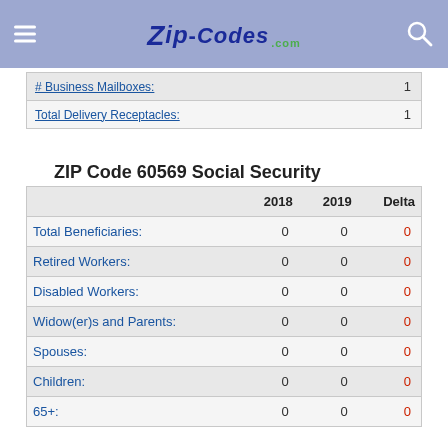Zip-Codes.com
|  |  |
| --- | --- |
| # Business Mailboxes: | 1 |
| Total Delivery Receptacles: | 1 |
ZIP Code 60569 Social Security Benefits
|  | 2018 | 2019 | Delta |
| --- | --- | --- | --- |
| Total Beneficiaries: | 0 | 0 | 0 |
| Retired Workers: | 0 | 0 | 0 |
| Disabled Workers: | 0 | 0 | 0 |
| Widow(er)s and Parents: | 0 | 0 | 0 |
| Spouses: | 0 | 0 | 0 |
| Children: | 0 | 0 | 0 |
| 65+: | 0 | 0 | 0 |